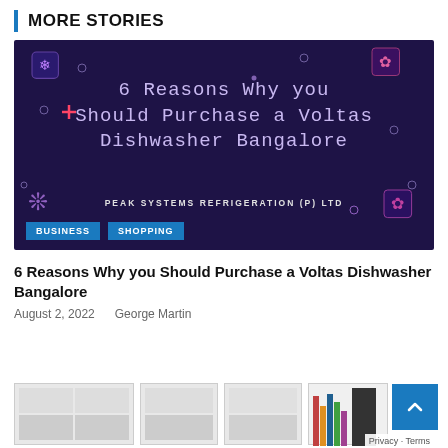MORE STORIES
[Figure (illustration): Dark purple promotional banner with decorative snowflake/flower icons, small circles, and text: '6 Reasons Why you Should Purchase a Voltas Dishwasher Bangalore' with subtitle 'PEAK SYSTEMS REFRIGERATION (P) LTD', and tags 'BUSINESS' and 'SHOPPING']
6 Reasons Why you Should Purchase a Voltas Dishwasher Bangalore
August 2, 2022   George Martin
[Figure (photo): Row of partially visible product thumbnail images showing white cabinet/shelf units and a bookshelf with colorful books]